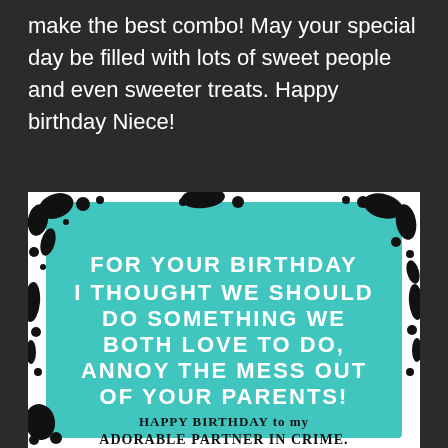make the best combo! May your special day be filled with lots of sweet people and even sweeter treats. Happy birthday Niece!
[Figure (illustration): A birthday greeting card with teal/turquoise paint splatter background with black ink splashes. Bold white uppercase text reads: FOR YOUR BIRTHDAY I THOUGHT WE SHOULD DO SOMETHING WE BOTH LOVE TO DO, ANNOY THE MESS OUT OF YOUR PARENTS! Below in handwritten-style black text: HAPPY BIRTHDAY to my ADORABLE PARTNER IN CRIME.]